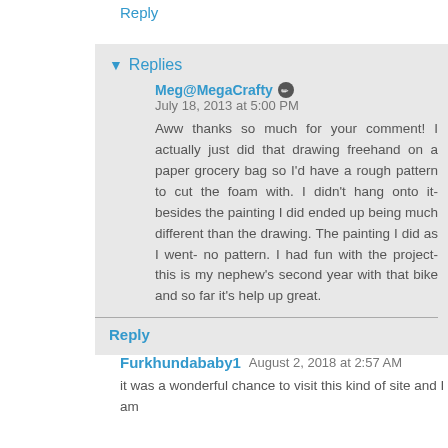congrats:::
Reply
▼ Replies
Meg@MegaCrafty  July 18, 2013 at 5:00 PM
Aww thanks so much for your comment! I actually just did that drawing freehand on a paper grocery bag so I'd have a rough pattern to cut the foam with. I didn't hang onto it- besides the painting I did ended up being much different than the drawing. The painting I did as I went- no pattern. I had fun with the project- this is my nephew's second year with that bike and so far it's help up great.
Reply
Furkhundababy1  August 2, 2018 at 2:57 AM
it was a wonderful chance to visit this kind of site and I am